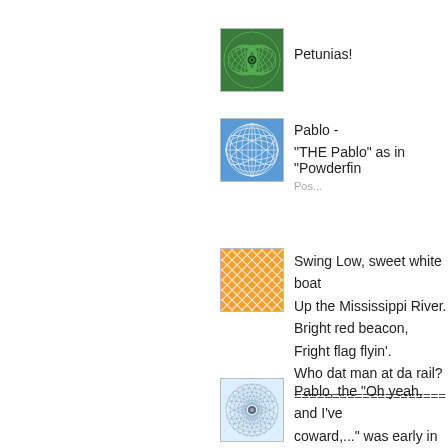[Figure (illustration): Green spiral/swirl pattern avatar icon]
Petunias!
[Figure (illustration): Blue geometric sphere/globe pattern avatar icon]
Pablo -
"THE Pablo" as in "Powderfin
Pos...
[Figure (illustration): Orange diagonal lines/network pattern avatar icon]
Swing Low, sweet white boat
Up the Mississippi River.
Bright red beacon,
Fright flag flyin'.
Who dat man at da rail?
====================
[Figure (illustration): Light blue spirograph/flower pattern avatar icon]
Pablo, the "Oh yeah, and I've
coward,..." was early in the th
factually true, if it is true, with...